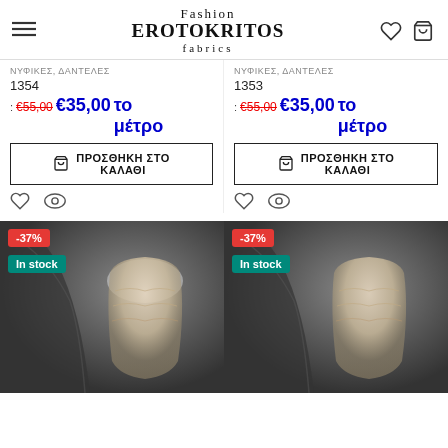Fashion EROTOKRITOS fabrics
ΝΥΦΙΚΕΣ, ΔΑΝΤΕΛΕΣ
1354
: €55,00 €35,00 το μέτρο
ΠΡΟΣΘΗΚΗ ΣΤΟ ΚΑΛΑΘΙ
ΝΥΦΙΚΕΣ, ΔΑΝΤΕΛΕΣ
1353
: €55,00 €35,00 το μέτρο
ΠΡΟΣΘΗΚΗ ΣΤΟ ΚΑΛΑΘΙ
[Figure (photo): Mannequin torso showing bridal/lace fabric with -37% discount badge and In stock badge]
[Figure (photo): Mannequin torso showing bridal/lace fabric with -37% discount badge and In stock badge]